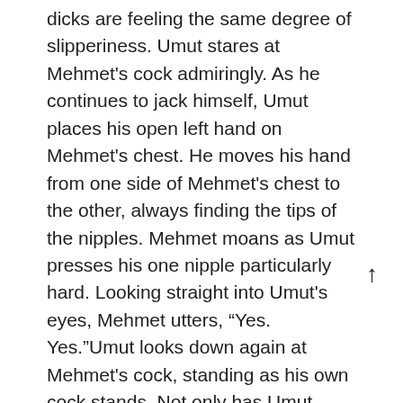dicks are feeling the same degree of slipperiness. Umut stares at Mehmet's cock admiringly. As he continues to jack himself, Umut places his open left hand on Mehmet's chest. He moves his hand from one side of Mehmet's chest to the other, always finding the tips of the nipples. Mehmet moans as Umut presses his one nipple particularly hard. Looking straight into Umut's eyes, Mehmet utters, “Yes. Yes.”Umut looks down again at Mehmet's cock, standing as his own cock stands. Not only has Umut wanted to suck Mehmet's cock just for the pleasure of sucking a cock, but to suck a cock kaçak bahis that is exactly like one's own is like finding a hidden treasure, an ornament of great price, a perfectly crafted object of unbearable delight. Umut spreads his left hand across Mehmet's chest as he leans forward placing his mouth within kissing distance from the still dripping head of Mehmet's cock.